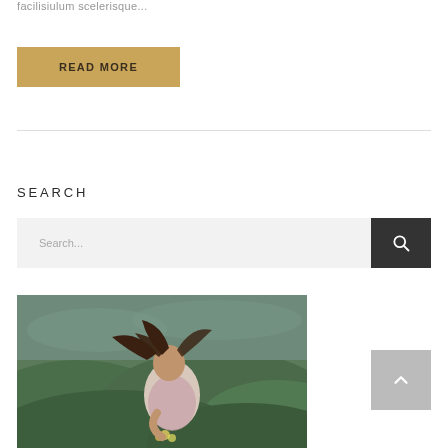facilisiulum scelerisque...
READ MORE
SEARCH
Search...
[Figure (photo): Woman with windblown hair standing in a green rolling meadow, wearing a pink/light top, holding flowers, moody overcast sky.]